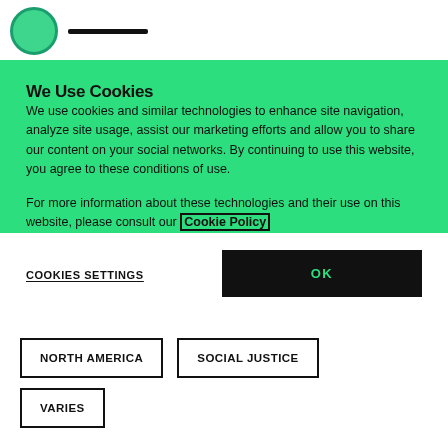We Use Cookies
We use cookies and similar technologies to enhance site navigation, analyze site usage, assist our marketing efforts and allow you to share our content on your social networks. By continuing to use this website, you agree to these conditions of use.
For more information about these technologies and their use on this website, please consult our Cookie Policy
COOKIES SETTINGS
OK
NORTH AMERICA
SOCIAL JUSTICE
VARIES